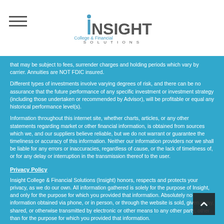[Figure (logo): Insight College & Financial Solutions logo with hamburger menu icon]
that may be subject to fees, surrender charges and holding periods which vary by carrier. Annuities are NOT FDIC insured.
Different types of investments involve varying degrees of risk, and there can be no assurance that the future performance of any specific investment or investment strategy (including those undertaken or recommended by Advisor), will be profitable or equal any historical performance level(s).
Information throughout this internet site, whether charts, articles, or any other statements regarding market or other financial information, is obtained from sources which we, and our suppliers believe reliable, but we do not warrant or guarantee the timeliness or accuracy of this information. Neither our information providers nor we shall be liable for any errors or inaccuracies, regardless of cause, or the lack of timeliness of, or for any delay or interruption in the transmission thereof to the user.
Privacy Policy
Insight College & Financial Solutions (Insight) honors, respects and protects your privacy, as we do our own. All information gathered is solely for the purpose of Insight, and only for the purpose for which you provided that information. Absolutely no information obtained via phone, or in person, or through the website is sold, given away, shared, or otherwise transmitted by electronic or other means to any other party, other than for the purpose for which you provided that information.